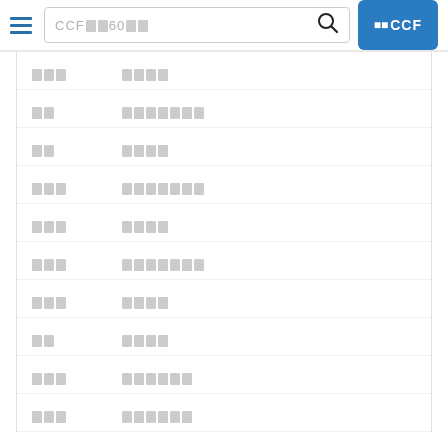CCF■■60■■ [search bar] ■■CCF
■■■   ■■■■
■■   ■■■■■■■
■■   ■■■■
■■■   ■■■■■■■
■■■   ■■■■
■■■   ■■■■■■■
■■■   ■■■■
■■   ■■■■
■■■   ■■■■■■
■■■   ■■■■■■